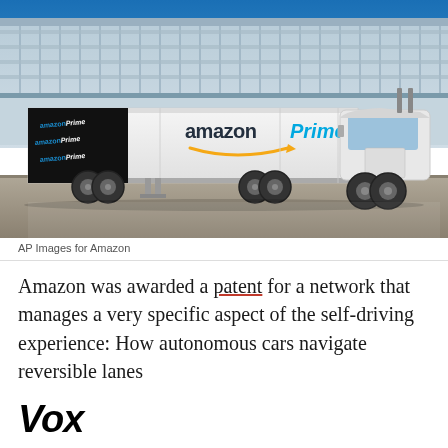[Figure (photo): An Amazon Prime semi-truck tractor-trailer parked outside a large warehouse/distribution center building. The white trailer displays the Amazon Prime logo with the arrow smile and the word 'Prime' in teal. A black panel on the side shows repeating Amazon Prime branding. The sky is blue.]
AP Images for Amazon
Amazon was awarded a patent for a network that manages a very specific aspect of the self-driving experience: How autonomous cars navigate reversible lanes
[Figure (logo): Vox media logo — bold black italic sans-serif text reading 'Vox']